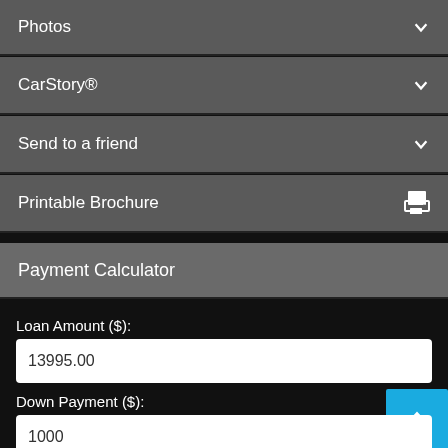Photos
CarStory®
Send to a friend
Printable Brochure
Payment Calculator
Loan Amount ($):
13995.00
Down Payment ($):
1000
APR (%):